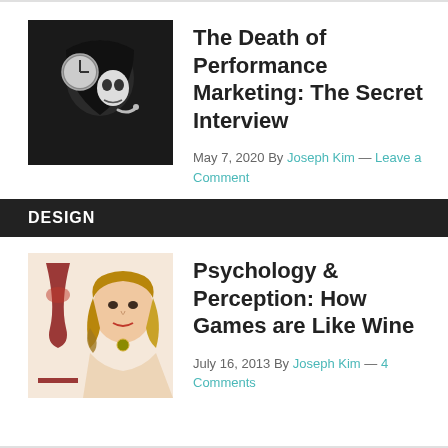[Figure (photo): Black and white photo of a figure in dark robes holding a clock, styled as death/skull makeup]
The Death of Performance Marketing: The Secret Interview
May 7, 2020 By Joseph Kim — Leave a Comment
DESIGN
[Figure (photo): Photo of a young woman with curly hair holding a glass of red wine]
Psychology & Perception: How Games are Like Wine
July 16, 2013 By Joseph Kim — 4 Comments